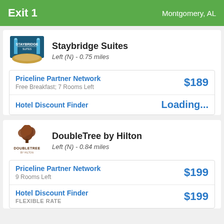Exit 1  Montgomery, AL
Staybridge Suites
Left (N) - 0.75 miles
| Provider | Detail | Price |
| --- | --- | --- |
| Priceline Partner Network | Free Breakfast; 7 Rooms Left | $189 |
| Hotel Discount Finder |  | Loading... |
DoubleTree by Hilton
Left (N) - 0.84 miles
| Provider | Detail | Price |
| --- | --- | --- |
| Priceline Partner Network | 9 Rooms Left | $199 |
| Hotel Discount Finder | FLEXIBLE RATE | $199 |